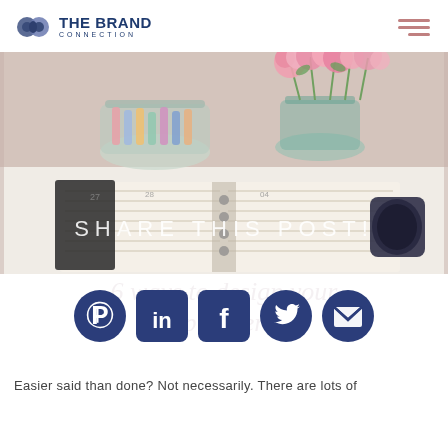[Figure (logo): The Brand Connection logo with chain-link icon and text 'THE BRAND CONNECTION']
[Figure (photo): Lifestyle flat-lay photo of an open planner/notebook, a glass jar with colorful clips, and pink flowers in a teal vase on a white wooden surface. Text overlay reads 'SHARE THIS POST!']
[Figure (infographic): Social sharing icons row: Pinterest, LinkedIn, Facebook, Twitter, Email]
Easier said than done? Not necessarily. There are lots of